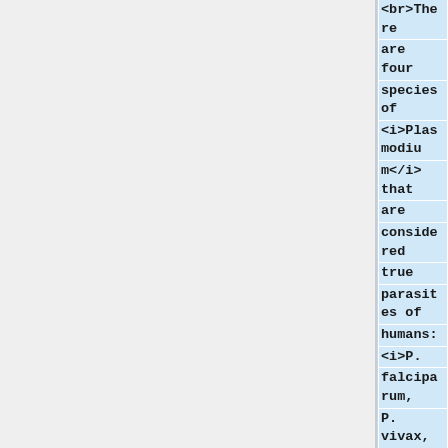<br>There are four species of <i>Plasmodium</i> that are considered true parasites of humans: <i>P. falciparum, P. vivax, P. ovale and P. malariae</i>. Although these species differ in their virulence, their life